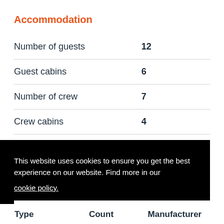Accommodation
|  |  |
| --- | --- |
| Number of guests | 12 |
| Guest cabins | 6 |
| Number of crew | 7 |
| Crew cabins | 4 |
Performance & capabilities
This website uses cookies to ensure you get the best experience on our website. Find more in our cookie policy.
Got it!
| Type | Count | Manufacturer |
| --- | --- | --- |